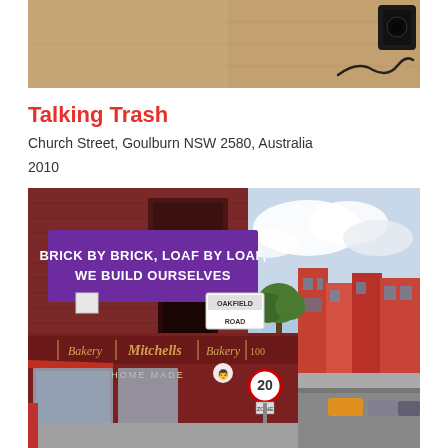[Figure (photo): Top portion of a photograph showing a wooden floor with a cable/cord and what appears to be a black speaker or equipment in the upper right corner]
Talking Trash
Church Street, Goulburn NSW 2580, Australia
2010
[Figure (photo): Street photograph of a brick building (Mitchell's Bakery) with a purple banner reading 'BRICK BY BRICK, LOAF BY LOAF, WE BUILD OURSELVES'. A street sign reads 'OAKFIELD ROAD'. There is a 20 ZONE sign and a row of colourful terraced houses visible in the background.]